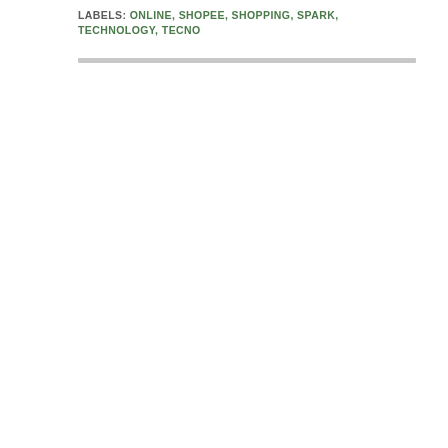LABELS: ONLINE, SHOPEE, SHOPPING, SPARK, TECHNOLOGY, TECNO